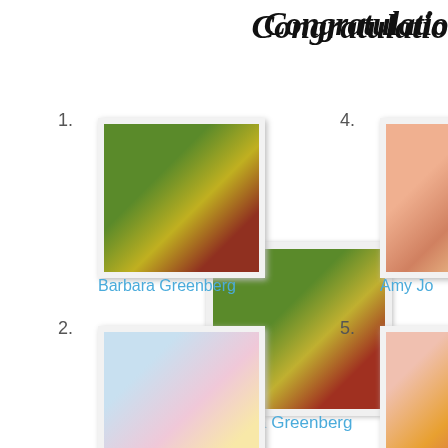Congratulatio
1. Barbara Greenberg
[Figure (photo): Scrapbook layout with green dotted background and photos]
2. Karen C
[Figure (photo): Scrapbook layout with light blue/pink background and photos]
3.
[Figure (photo): Scrapbook layout with green and grey tones]
4. Amy Jo
[Figure (photo): Scrapbook layout with pink/peach background and photos]
5. Deanna Deat
[Figure (photo): Scrapbook layout with colorful elements]
6.
[Figure (photo): Scrapbook layout with yellow and red tones]